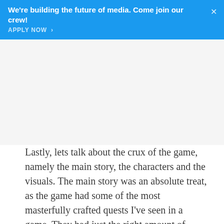We're building the future of media. Come join our crew! APPLY NOW >
[Figure (other): Advertisement placeholder area (white/light gray space)]
Lastly, lets talk about the crux of the game, namely the main story, the characters and the visuals. The main story was an absolute treat, as the game had some of the most masterfully crafted quests I've seen in a game. They had just the right amount of humor and emotion and the excellent writing make them quite memorable. The romances too are much better than the generic, linear ones BioWare has been shoving into their games as of late. They make you admire the characters and